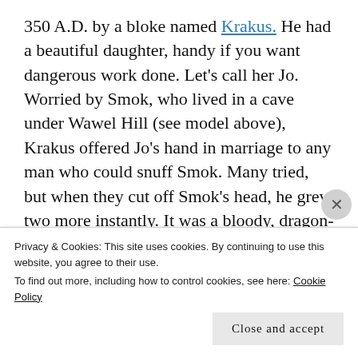350 A.D. by a bloke named Krakus. He had a beautiful daughter, handy if you want dangerous work done. Let's call her Jo. Worried by Smok, who lived in a cave under Wawel Hill (see model above), Krakus offered Jo's hand in marriage to any man who could snuff Smok. Many tried, but when they cut off Smok's head, he grew two more instantly. It was a bloody, dragon-head-filled while before one chappie whom I'll call Pawel figured out that cutting off one or more heads just made things worse. He poisoned a goat
Privacy & Cookies: This site uses cookies. By continuing to use this website, you agree to their use.
To find out more, including how to control cookies, see here: Cookie Policy
Close and accept